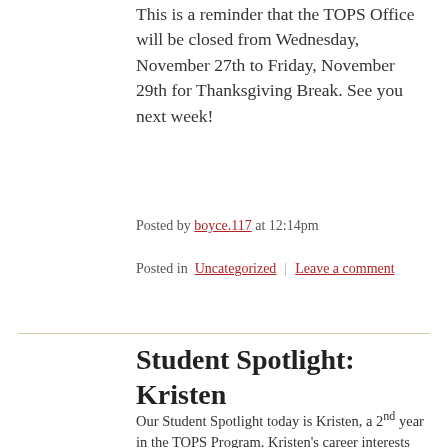This is a reminder that the TOPS Office will be closed from Wednesday, November 27th to Friday, November 29th for Thanksgiving Break. See you next week!
Posted by boyce.117 at 12:14pm
Posted in Uncategorized | Leave a comment
Student Spotlight: Kristen
Our Student Spotlight today is Kristen, a 2nd year in the TOPS Program. Kristen's career interests include advocating for